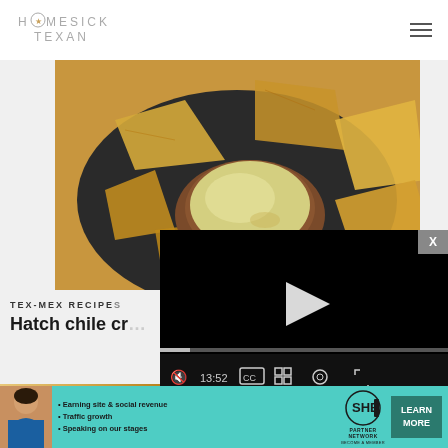HOMESICK TEXAN
[Figure (photo): Overhead photo of tortilla chips on a dark plate with a bowl of creamy Hatch chile dip in the center]
[Figure (screenshot): Video player overlay in black with a play button, progress bar showing 13:52, and controls for CC, grid, settings, and fullscreen]
TEX-MEX RECIPE
Hatch chile cr
[Figure (photo): Advertisement banner for SHE Partner Network with bullets: Earning site & social revenue, Traffic growth, Speaking on our stages; with person photo and LEARN MORE button]